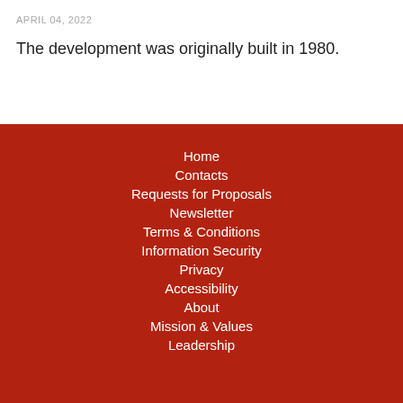APRIL 04, 2022
The development was originally built in 1980.
Home
Contacts
Requests for Proposals
Newsletter
Terms & Conditions
Information Security
Privacy
Accessibility
About
Mission & Values
Leadership